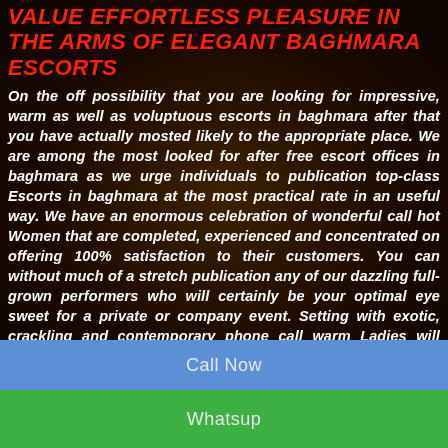VALUE EFFORTLESS PLEASURE IN THE ARMS OF ELEGANT BAGHMARA ESCORTS
On the off possibility that you are looking for impressive, warm as well as voluptuous escorts in baghmara after that you have actually mosted likely to the appropriate place. We are among the most looked for after free escort offices in baghmara as we urge individuals to publication top-class Escorts in baghmara at the most practical rate in an useful way. We have an enormous celebration of wonderful call hot Women that are completed, experienced and concentrated on offering 100% satisfaction to their customers. You can without much of a stretch publication any of our dazzling full-grown performers who will certainly be your optimal eye sweet for a private or company event. Setting with exotic, crackling and contemporary phone call warm Ladies will certainly stir your excitement for affection and also satisfy your sex-related wishings to your most significant satisfaction.
Call Now
Whatsup